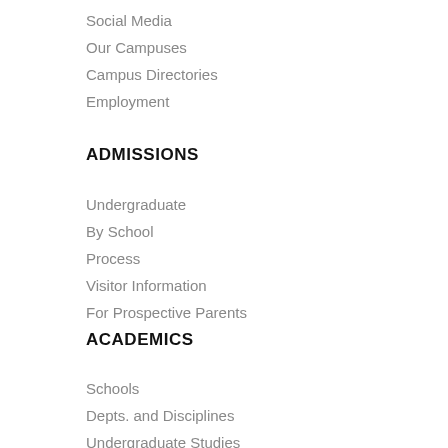Social Media
Our Campuses
Campus Directories
Employment
ADMISSIONS
Undergraduate
By School
Process
Visitor Information
For Prospective Parents
ACADEMICS
Schools
Depts. and Disciplines
Undergraduate Studies
Graduate Studies